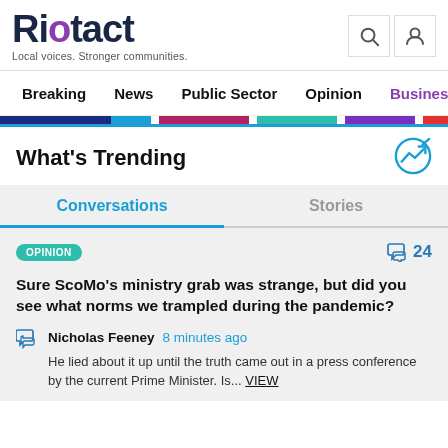Riotact — Local voices. Stronger communities.
Breaking  News  Public Sector  Opinion  Business  R
What's Trending
Conversations  |  Stories
OPINION  24 comments
Sure ScoMo's ministry grab was strange, but did you see what norms we trampled during the pandemic?
Nicholas Feeney  8 minutes ago — He lied about it up until the truth came out in a press conference by the current Prime Minister. Is... VIEW